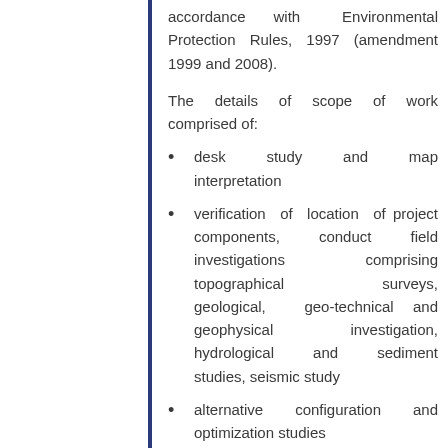accordance with Environmental Protection Rules, 1997 (amendment 1999 and 2008).
The details of scope of work comprised of:
desk study and map interpretation
verification of location of project components, conduct field investigations comprising topographical surveys, geological, geo-technical and geophysical investigation, hydrological and sediment studies, seismic study
alternative configuration and optimization studies
project layout and design of civil structures such as head